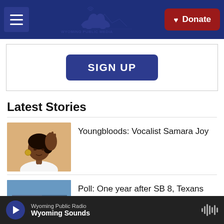Wyoming Public Media — Donate
[Figure (screenshot): SIGN UP button on a white card with border]
Latest Stories
[Figure (photo): Portrait of vocalist Samara Joy, a young Black woman with hand raised near her face, wearing a white outfit and large earring, tan/warm background]
Youngbloods: Vocalist Samara Joy
[Figure (photo): Photo related to Texas SB 8 story, blue-toned building exterior]
Poll: One year after SB 8, Texans
Wyoming Public Radio — Wyoming Sounds